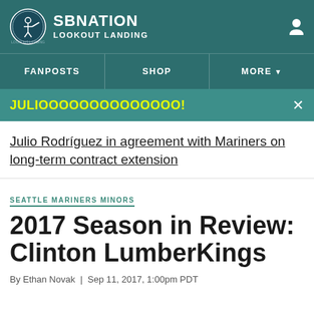SBNation Lookout Landing
FANPOSTS | SHOP | MORE
JULIOOOOOOOOOOOOOO!
Julio Rodríguez in agreement with Mariners on long-term contract extension
SEATTLE MARINERS MINORS
2017 Season in Review: Clinton LumberKings
By Ethan Novak | Sep 11, 2017, 1:00pm PDT